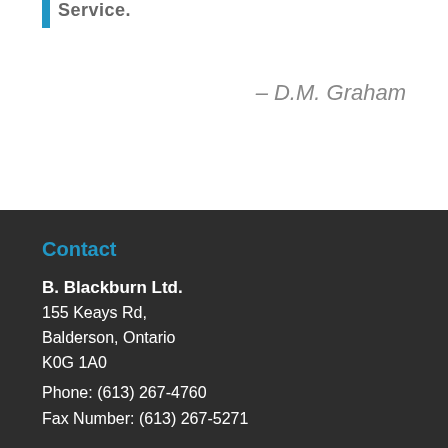Service.
– D.M. Graham
Contact
B. Blackburn Ltd.
155 Keays Rd,
Balderson, Ontario
K0G 1A0
Phone: (613) 267-4760
Fax Number: (613) 267-5271